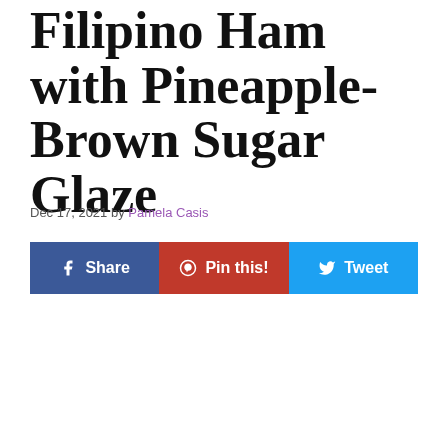Filipino Ham with Pineapple-Brown Sugar Glaze
Dec 17, 2021 by Pamela Casis
[Figure (other): Social sharing buttons: Share (Facebook, blue), Pin this! (Pinterest, red), Tweet (Twitter, light blue)]